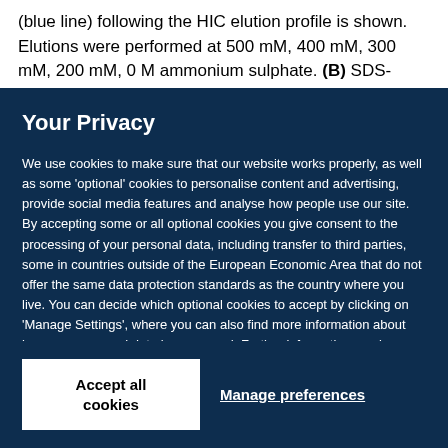(blue line) following the HIC elution profile is shown. Elutions were performed at 500 mM, 400 mM, 300 mM, 200 mM, 0 M ammonium sulphate. (B) SDS-PAGE gel
Your Privacy
We use cookies to make sure that our website works properly, as well as some ‘optional’ cookies to personalise content and advertising, provide social media features and analyse how people use our site. By accepting some or all optional cookies you give consent to the processing of your personal data, including transfer to third parties, some in countries outside of the European Economic Area that do not offer the same data protection standards as the country where you live. You can decide which optional cookies to accept by clicking on ‘Manage Settings’, where you can also find more information about how your personal data is processed. Further information can be found in our privacy policy.
Accept all cookies
Manage preferences